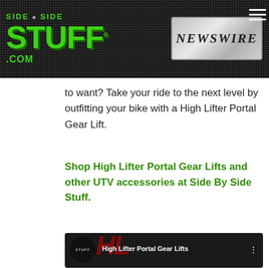Side By Side Stuff - NEWSWIRE
to want? Take your ride to the next level by outfitting your bike with a High Lifter Portal Gear Lift.
Shop High Lifter Portal Gear Lifts and other UTV accessories at Side By Side Stuff.
[Figure (screenshot): YouTube video thumbnail for High Lifter Portal Gear Lifts featuring the High Lifter HL logo in red over a black background, a red PORT GEAR LIFT text graphic, and a gear assembly image on the right.]